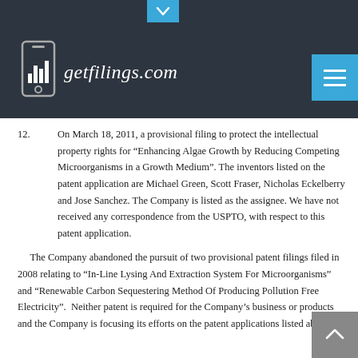getfilings.com
12.   On March 18, 2011, a provisional filing to protect the intellectual property rights for “Enhancing Algae Growth by Reducing Competing Microorganisms in a Growth Medium”. The inventors listed on the patent application are Michael Green, Scott Fraser, Nicholas Eckelberry and Jose Sanchez. The Company is listed as the assignee. We have not received any correspondence from the USPTO, with respect to this patent application.
The Company abandoned the pursuit of two provisional patent filings filed in 2008 relating to “In-Line Lysing And Extraction System For Microorganisms” and “Renewable Carbon Sequestering Method Of Producing Pollution Free Electricity”.  Neither patent is required for the Company’s business or products and the Company is focusing its efforts on the patent applications listed above.